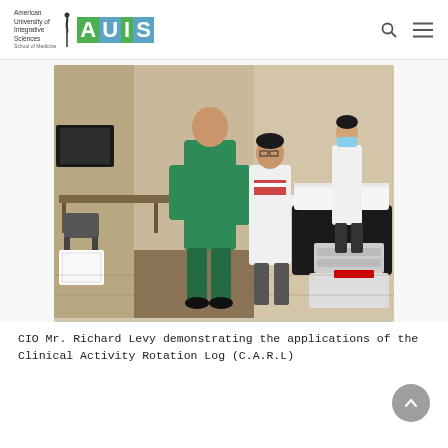American University of Integrative Sciences School of Medicine — AUIS
[Figure (photo): Medical training scene: a person in green scrubs (CIO Mr. Richard Levy) stands at an exam table demonstrating something to a student in a white coat. A second person in a white coat and mask stands in the background. The setting is a clinical skills lab with desks and chairs visible.]
CIO Mr. Richard Levy demonstrating the applications of the Clinical Activity Rotation Log (C.A.R.L)